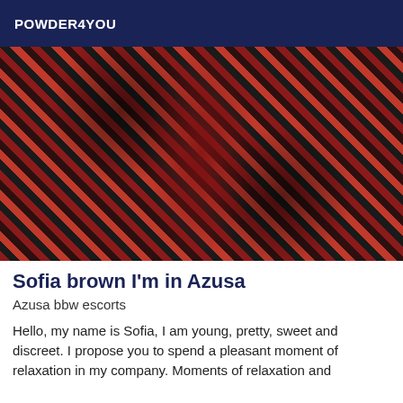POWDER4YOU
[Figure (photo): Person wearing a red and black patterned bodysuit, torso and arms visible, photographed from behind/side angle in a dimly lit room.]
Sofia brown I'm in Azusa
Azusa bbw escorts
Hello, my name is Sofia, I am young, pretty, sweet and discreet. I propose you to spend a pleasant moment of relaxation in my company. Moments of relaxation and